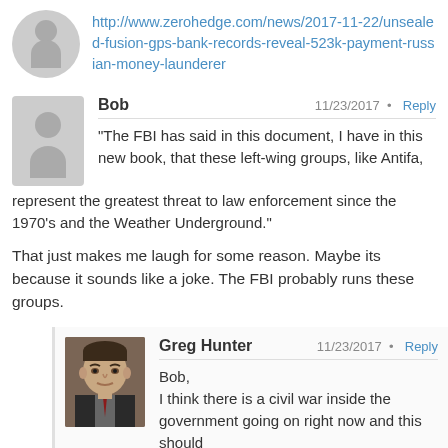http://www.zerohedge.com/news/2017-11-22/unsealed-fusion-gps-bank-records-reveal-523k-payment-russian-money-launderer
Bob  11/23/2017 · Reply
"The FBI has said in this document, I have in this new book, that these left-wing groups, like Antifa, represent the greatest threat to law enforcement since the 1970's and the Weather Underground."
That just makes me laugh for some reason. Maybe its because it sounds like a joke. The FBI probably runs these groups.
Greg Hunter  11/23/2017 · Reply
Bob,
I think there is a civil war inside the government going on right now and this should